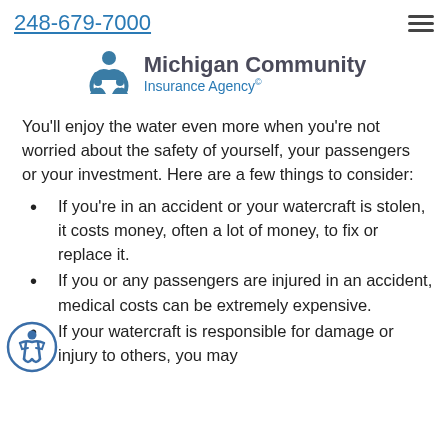248-679-7000
[Figure (logo): Michigan Community Insurance Agency logo with teal person icon and two-line text]
You'll enjoy the water even more when you're not worried about the safety of yourself, your passengers or your investment. Here are a few things to consider:
If you're in an accident or your watercraft is stolen, it costs money, often a lot of money, to fix or replace it.
If you or any passengers are injured in an accident, medical costs can be extremely expensive.
If your watercraft is responsible for damage or injury to others, you may